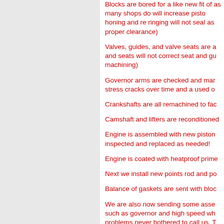[Figure (photo): Light grey textured background panel on the left side of the page]
Blocks are bored for a like new fit of as many shops do will increase piston honing and re ringing will not seal as proper clearance)
Valves, guides, and valve seats are a and seats will not correct seat and gu machining)
Governor arms are checked and mar stress cracks over time and a used o
Crankshafts are all remachined to fac
Camshaft and lifters are reconditioned
Engine is assembled with new piston inspected and replaced as needed!
Engine is coated with heatproof prime
Next we install new points rod and po
Balance of gaskets are sent with bloc
We are also now sending some asse such as governor and high speed wh problems never bothered to call us. T